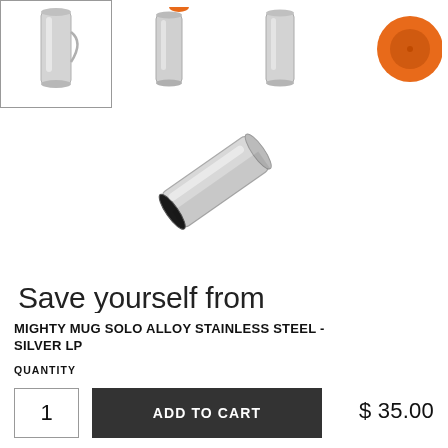[Figure (photo): Four product thumbnail images of Mighty Mug Solo Alloy Stainless Steel - Silver LP, showing different angles including top view with orange bottom]
[Figure (photo): Center image of the Mighty Mug stainless steel mug lying on its side showing the open top/rim]
Save yourself from embarrassing, messy and disastrous spills with Mighty Mug, the mug that won't fall when knocked into, but lifts
MIGHTY MUG SOLO ALLOY STAINLESS STEEL - SILVER LP
QUANTITY
1
ADD TO CART
$ 35.00